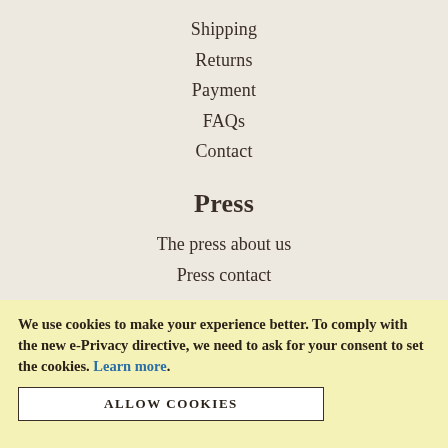Shipping
Returns
Payment
FAQs
Contact
Press
The press about us
Press contact
Twitter
We use cookies to make your experience better. To comply with the new e-Privacy directive, we need to ask for your consent to set the cookies. Learn more.
ALLOW COOKIES